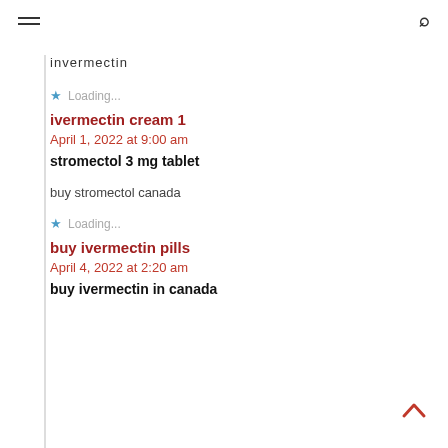≡  🔍
invermectin
★ Loading...
ivermectin cream 1
April 1, 2022 at 9:00 am
stromectol 3 mg tablet
buy stromectol canada
★ Loading...
buy ivermectin pills
April 4, 2022 at 2:20 am
buy ivermectin in canada